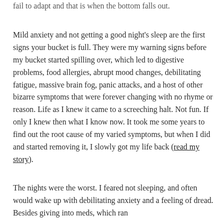fail to adapt and that is when the bottom falls out.
Mild anxiety and not getting a good night's sleep are the first signs your bucket is full. They were my warning signs before my bucket started spilling over, which led to digestive problems, food allergies, abrupt mood changes, debilitating fatigue, massive brain fog, panic attacks, and a host of other bizarre symptoms that were forever changing with no rhyme or reason. Life as I knew it came to a screeching halt. Not fun. If only I knew then what I know now. It took me some years to find out the root cause of my varied symptoms, but when I did and started removing it, I slowly got my life back (read my story).
The nights were the worst. I feared not sleeping, and often would wake up with debilitating anxiety and a feeling of dread. Besides giving into meds, which ran